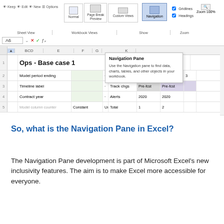[Figure (screenshot): Microsoft Excel ribbon showing View tab with Sheet View, Workbook Views (Normal, Page Break Preview, Custom Views), Show (Navigation, Gridlines, Headings), and Zoom sections. Below is formula bar showing A6 cell reference. A spreadsheet is visible with 'Ops - Base case 1' as title in row 1, rows 2-5 showing Model period ending, Timeline label, Contract year, Model column counter. A Navigation Pane tooltip popup is visible explaining: 'Use the Navigation pane to find data, charts, tables, and other objects in your workbook.']
So, what is the Navigation Pane in Excel?
The Navigation Pane development is part of Microsoft Excel's new inclusivity features. The aim is to make Excel more accessible for everyone.